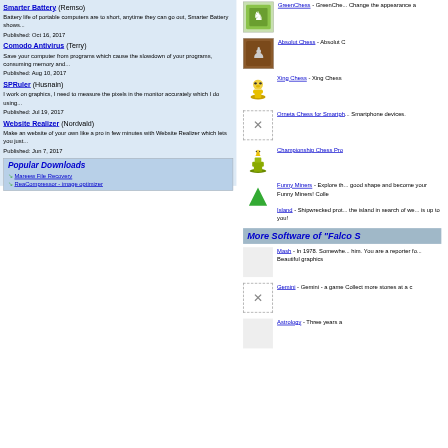Smarter Battery (Remso) - Battery life of portable computers are to short, anytime they can go out, Smarter Battery shows... Published: Oct 16, 2017
Comodo Antivirus (Terry) - Save your computer from programs which cause the slowdown of your programs, consuming memory and... Published: Aug 10, 2017
SPRuler (Husnain) - I work on graphics, I need to measure the pixels in the monitor accurately which I do using... Published: Jul 19, 2017
Website Realizer (Nordvald) - Make an website of your own like a pro in few minutes with Website Realizer which lets you just... Published: Jun 7, 2017
Popular Downloads
Mareew File Recovery
ReaCompressor - image optimizer
GreenChess - GreenChess... Change the appearance a
Absolut Chess - Absolut C
Xing Chess - Xing Chess
Orneta Chess for Smartph... Smartphone devices.
Championship Chess Pro
Funny Miners - Explore th... good shape and become your Funny Miners! Colle
Island - Shipwrecked prot... the island in search of we... is up to you!
More Software of "Falco S
Mash - In 1978. Somewhe... him. You are a reporter fo... Beautiful graphics
Gemini - Gemini - a game Collect more stones at a c
Astrology - Three years a